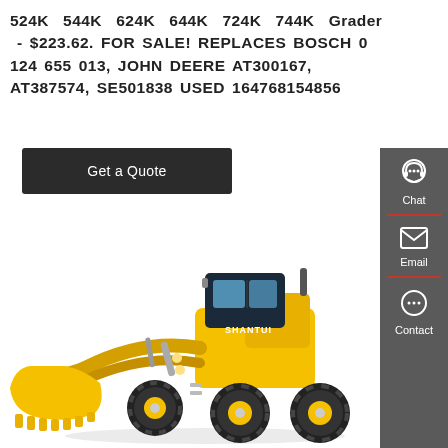524K 544K 624K 644K 724K 744K Grader - $223.62. FOR SALE! REPLACES BOSCH 0 124 655 013, JOHN DEERE AT300167, AT387574, SE501838 USED 164768154856
Get a Quote
Chat
Email
Contact
[Figure (photo): Yellow Shantui wheel loader with large front bucket, shown from front-left angle on white background]